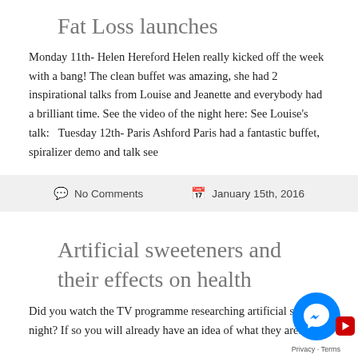Fat Loss launches
Monday 11th- Helen Hereford Helen really kicked off the week with a bang! The clean buffet was amazing, she had 2 inspirational talks from Louise and Jeanette and everybody had a brilliant time. See the video of the night here: See Louise’s talk:   Tuesday 12th- Paris Ashford Paris had a fantastic buffet, spiralizer demo and talk see
No Comments   January 15th, 2016
Artificial sweeteners and their effects on health
Did you watch the TV programme researching artificial sw... last night? If so you will already have an idea of what they are...